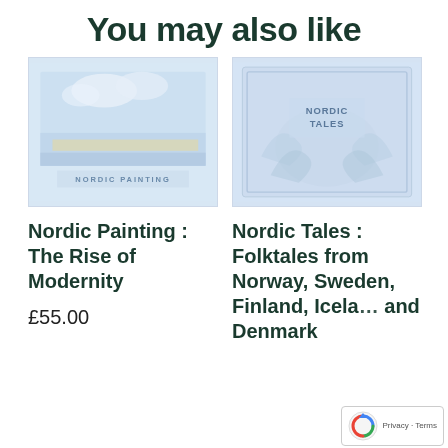You may also like
[Figure (photo): Book cover of Nordic Painting: The Rise of Modernity, pale blue tones with landscape painting imagery and text 'Nordic Painting']
Nordic Painting : The Rise of Modernity
£55.00
[Figure (photo): Book cover of Nordic Tales: Folktales from Norway, Sweden, Finland, Iceland and Denmark, pale blue decorative cover with white text 'Nordic Tales' and illustrated mythological creatures]
Nordic Tales : Folktales from Norway, Sweden, Finland, Iceland and Denmark